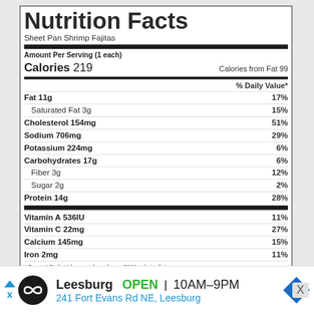Nutrition Facts
Sheet Pan Shrimp Fajitas
Amount Per Serving (1 each)
| Nutrient | Amount | % Daily Value |
| --- | --- | --- |
| Calories | 219 |  |
| Calories from Fat | 99 |  |
| Fat | 11g | 17% |
| Saturated Fat | 3g | 15% |
| Cholesterol | 154mg | 51% |
| Sodium | 706mg | 29% |
| Potassium | 224mg | 6% |
| Carbohydrates | 17g | 6% |
| Fiber | 3g | 12% |
| Sugar | 2g | 2% |
| Protein | 14g | 28% |
| Vitamin A | 536IU | 11% |
| Vitamin C | 22mg | 27% |
| Calcium | 145mg | 15% |
| Iron | 2mg | 11% |
* Percent Daily Values are based on a 2000 calorie diet.